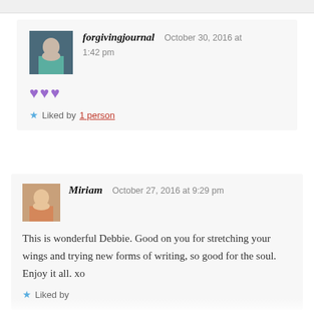forgivingjournal   October 30, 2016 at 1:42 pm
♥♥♥
Liked by 1 person
Miriam   October 27, 2016 at 9:29 pm
This is wonderful Debbie. Good on you for stretching your wings and trying new forms of writing, so good for the soul. Enjoy it all. xo